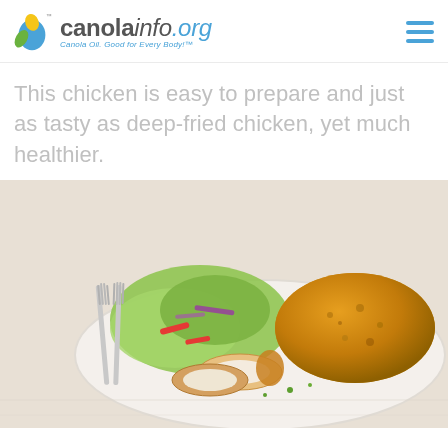canolainfo.org — Canola Oil. Good for Every Body!™
This chicken is easy to prepare and just as tasty as deep-fried chicken, yet much healthier.
[Figure (photo): A plate of breaded baked chicken breast, sliced to show white interior, served alongside a fresh green salad with red peppers and red onions, with silverware (two forks) on the left side of the white plate, on a white wooden surface.]